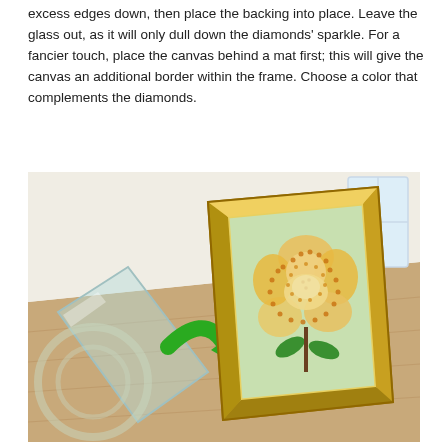excess edges down, then place the backing into place. Leave the glass out, as it will only dull down the diamonds' sparkle. For a fancier touch, place the canvas behind a mat first; this will give the canvas an additional border within the frame. Choose a color that complements the diamonds.
[Figure (illustration): Illustration showing a diamond painting of a rose in a gold frame standing upright on a wooden surface, with a green arrow pointing from a piece of glass on the left toward the framed painting, indicating to leave the glass out.]